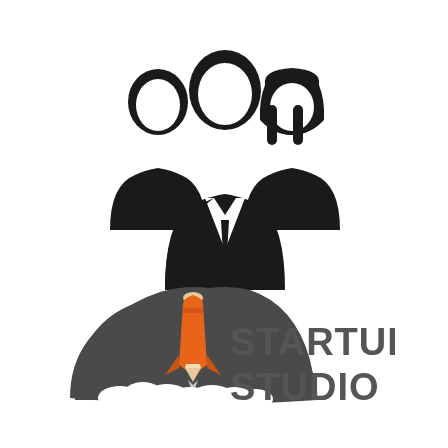[Figure (illustration): Three silhouette figures representing a team: a smaller figure on the left, a taller central figure in a suit with a tie, and a figure with long hair on the right. All in solid black.]
[Figure (logo): Startup Studio logo: a rocket shaped like a pencil launching upward inside a dark grey arc/wing shape with white clouds at the bottom. Orange and beige rocket body. Text 'STARTUP STUDIO' in large bold grey letters to the right.]